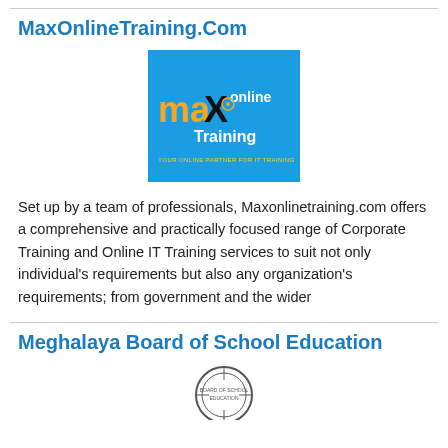MaxOnlineTraining.Com
[Figure (logo): MaxOnlineTraining.com logo - blue background with stylized 'max' in orange/black and 'online Training' in white, tagline 'YOUR ONLINE PARTNER FOR IT TRAINING']
Set up by a team of professionals, Maxonlinetraining.com offers a comprehensive and practically focused range of Corporate Training and Online IT Training services to suit not only individual's requirements but also any organization's requirements; from government and the wider
Meghalaya Board of School Education
[Figure (logo): Meghalaya Board of School Education circular seal/badge logo]